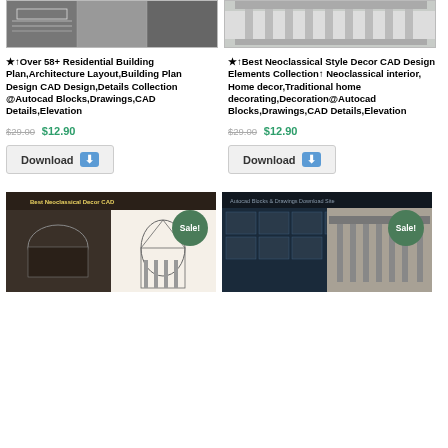[Figure (screenshot): Top left product thumbnail - architectural CAD drawings]
[Figure (screenshot): Top right product thumbnail - neoclassical building facade photograph]
★↑Over 58+ Residential Building Plan,Architecture Layout,Building Plan Design CAD Design,Details Collection @Autocad Blocks,Drawings,CAD Details,Elevation
★↑Best Neoclassical Style Decor CAD Design Elements Collection↑ Neoclassical interior, Home decor,Traditional home decorating,Decoration@Autocad Blocks,Drawings,CAD Details,Elevation
$29.00 $12.90
$29.00 $12.90
Download
Download
[Figure (screenshot): Bottom left product thumbnail - Best Neoclassical Decor CAD with Sale badge]
[Figure (screenshot): Bottom right product thumbnail - Autocad Blocks & Drawings Download Site with Sale badge]